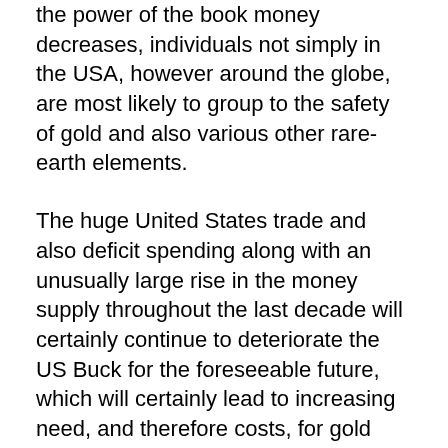the power of the book money decreases, individuals not simply in the USA, however around the globe, are most likely to group to the safety of gold and also various other rare-earth elements.
The huge United States trade and also deficit spending along with an unusually large rise in the money supply throughout the last decade will certainly continue to deteriorate the US Buck for the foreseeable future, which will certainly lead to increasing need, and therefore costs, for gold and silver. It is highly most likely that the price of gold will certainly never again be as reduced as it is today. Unlike paper currency as well as various other commodities, gold has a background of holding its value, as well as